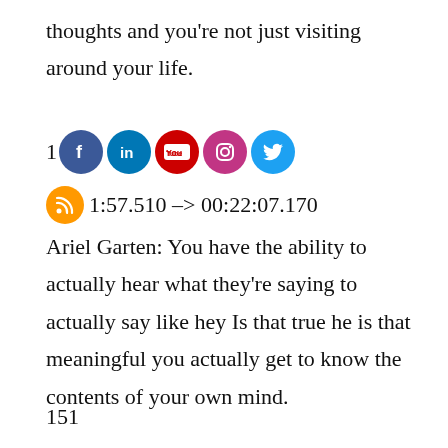thoughts and you're not just visiting around your life.
[Figure (other): Row of social media icons: Facebook, LinkedIn, YouTube, Instagram, Twitter, with number 1 prefix]
00:21:57.510 –> 00:22:07.170
Ariel Garten: You have the ability to actually hear what they're saying to actually say like hey Is that true he is that meaningful you actually get to know the contents of your own mind.
151